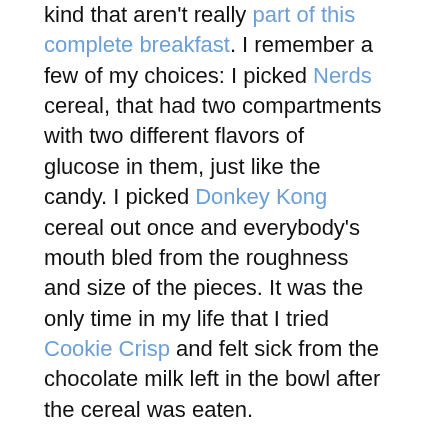kind that aren't really part of this complete breakfast. I remember a few of my choices: I picked Nerds cereal, that had two compartments with two different flavors of glucose in them, just like the candy. I picked Donkey Kong cereal out once and everybody's mouth bled from the roughness and size of the pieces. It was the only time in my life that I tried Cookie Crisp and felt sick from the chocolate milk left in the bowl after the cereal was eaten.
This was a short but memorable tradition in my family. I plan on doing the same thing for my kids until they're too old too appreciate it as, I'm sure. I became